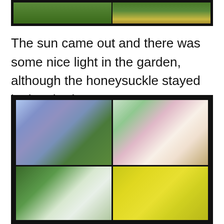[Figure (photo): Two garden photos side by side at top: left shows green foliage, right shows green leaves with yellow flower]
The sun came out and there was some nice light in the garden, although the honeysuckle stayed in the shade.
[Figure (photo): 2x2 grid of garden flower photos: top-left shows purple/lavender bell-shaped flowers (campanula) with green foliage, top-right shows honeysuckle flowers with pink and cream petals, bottom-left shows white flowers with green leaves, bottom-right shows yellow flower buds]